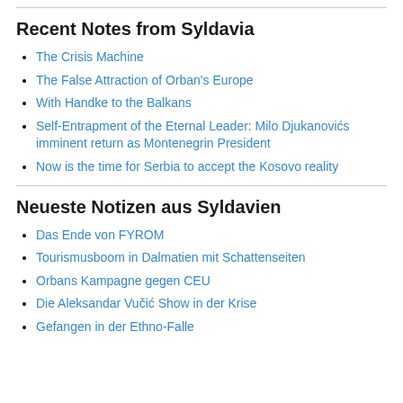Recent Notes from Syldavia
The Crisis Machine
The False Attraction of Orban's Europe
With Handke to the Balkans
Self-Entrapment of the Eternal Leader: Milo Djukanovićs imminent return as Montenegrin President
Now is the time for Serbia to accept the Kosovo reality
Neueste Notizen aus Syldavien
Das Ende von FYROM
Tourismusboom in Dalmatien mit Schattenseiten
Orbans Kampagne gegen CEU
Die Aleksandar Vučić Show in der Krise
Gefangen in der Ethno-Falle